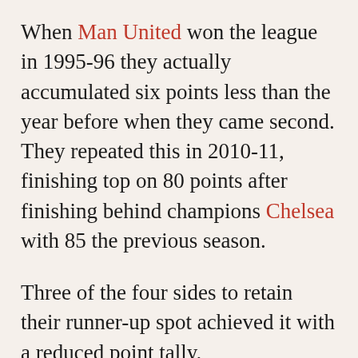When Man United won the league in 1995-96 they actually accumulated six points less than the year before when they came second. They repeated this in 2010-11, finishing top on 80 points after finishing behind champions Chelsea with 85 the previous season.
Three of the four sides to retain their runner-up spot achieved it with a reduced point tally.
The stats show that clubs should be confident coming from second. It is a position of power. Liverpool's story reads differently to the trends and successes enjoyed by most of the rest, but it must be noted that Adam Lallana and Lazar Markovic are not Salif Diao and El Hadji Diouf, nor is John W. Henry a ringer for Tom Hicks or